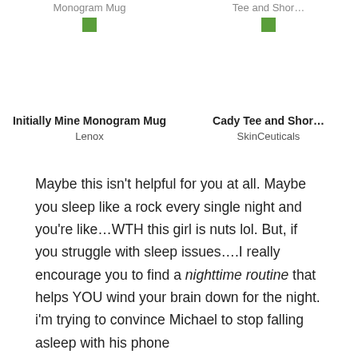Monogram Mug    Tee and Shor…
[Figure (photo): Broken image placeholder for Monogram Mug product photo]
[Figure (photo): Broken image placeholder for Tee and Shorts product photo]
Initially Mine Monogram Mug
Lenox
Cady Tee and Shor…
SkinCeuticals
Maybe this isn't helpful for you at all. Maybe you sleep like a rock every single night and you're like…WTH this girl is nuts lol. But, if you struggle with sleep issues….I really encourage you to find a nighttime routine that helps YOU wind your brain down for the night. i'm trying to convince Michael to stop falling asleep with his phone